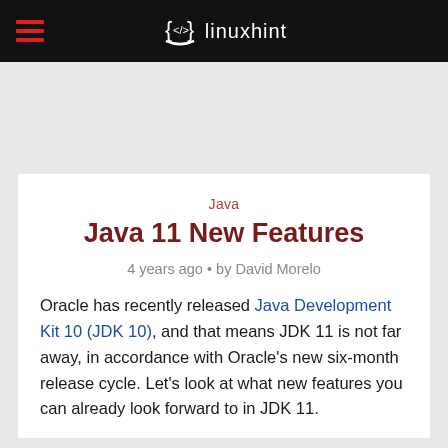linuxhint
Java
Java 11 New Features
4 years ago • by David Morelo
Oracle has recently released Java Development Kit 10 (JDK 10), and that means JDK 11 is not far away, in accordance with Oracle's new six-month release cycle. Let's look at what new features you can already look forward to in JDK 11.
Epsilon Garbage Collector